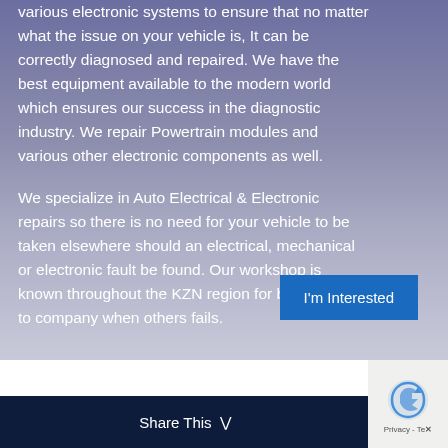various electronic systems to ensure that no matter what the issue on your vehicle is, It can be correctly diagnosed and repaired. We have the best equipment available to the modern world which ensures our success in the diagnostic industry. We repair Powertrain modules and various other electronic components as well.
We specialize in Auto Electrical & Electronic repairs so there is no need for your vehicle to be taken elsewhere should an electrical, mechanical or electronic fault be found. Our workshop is known throughout the KZN region for being the go to company when others fails.
I'm Interested
Share This ∨